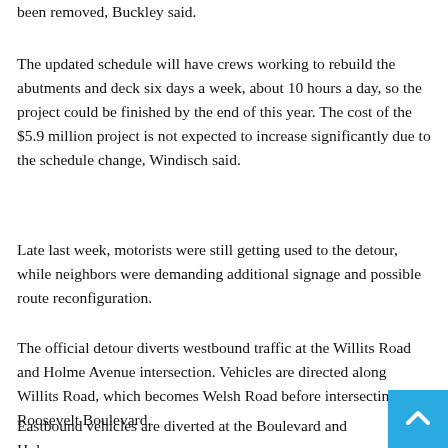been removed, Buckley said.
The updated schedule will have crews working to rebuild the abutments and deck six days a week, about 10 hours a day, so the project could be finished by the end of this year. The cost of the $5.9 million project is not expected to increase significantly due to the schedule change, Windisch said.
Late last week, motorists were still getting used to the detour, while neighbors were demanding additional signage and possible route reconfiguration.
The official detour diverts westbound traffic at the Willits Road and Holme Avenue intersection. Vehicles are directed along Willits Road, which becomes Welsh Road before intersecting with Roosevelt Boulevard.
Eastbound vehicles are diverted at the Boulevard and Holme…